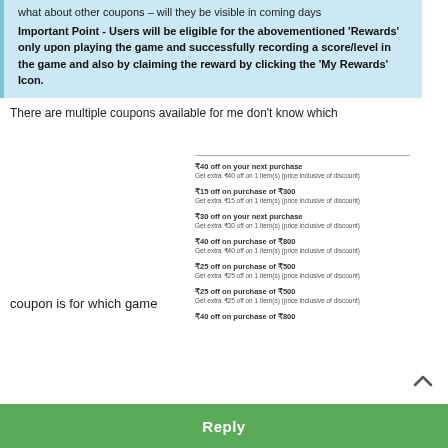what about other coupons – will they be visible in coming days
Important Point - Users will be eligible for the abovementioned 'Rewards' only upon playing the game and successfully recording a score/level in the game and also by claiming the reward by clicking the 'My Rewards' Icon.
There are multiple coupons available for me don't know which coupon is for which game
[Figure (screenshot): A list of coupon offers showing items like '₹40 off on your next purchase', '₹15 off on purchase of ₹300', '₹30 off on your next purchase', '₹40 off on purchase of ₹800', '₹25 off on purchase of ₹500', '₹25 off on purchase of ₹500', '₹40 off on purchase of ₹800']
Reply